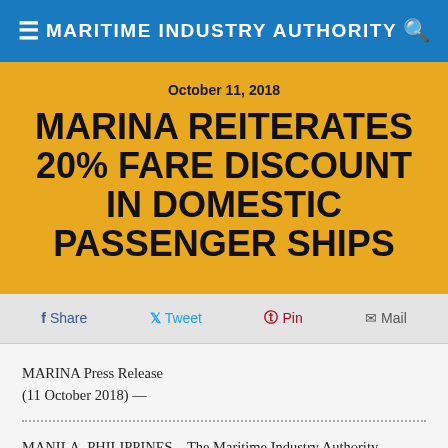MARITIME INDUSTRY AUTHORITY
October 11, 2018
MARINA REITERATES 20% FARE DISCOUNT IN DOMESTIC PASSENGER SHIPS
Share  Tweet  Pin  Mail
MARINA Press Release
(11 October 2018) —
MANILA, PHILIPPINES – The Maritime Industry Authority (MARINA) has reiterated to domestic passenger ship